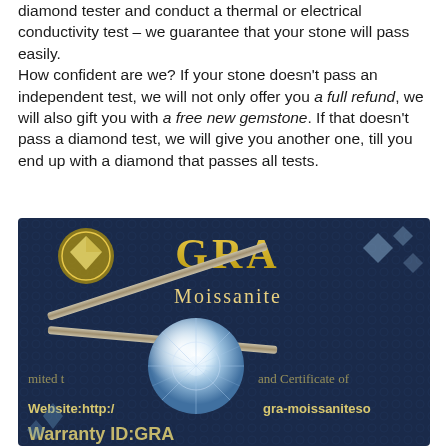diamond tester and conduct a thermal or electrical conductivity test – we guarantee that your stone will pass easily.
How confident are we? If your stone doesn't pass an independent test, we will not only offer you a full refund, we will also gift you with a free new gemstone. If that doesn't pass a diamond test, we will give you another one, till you end up with a diamond that passes all tests.
[Figure (photo): Close-up photo of a round brilliant-cut moissanite gemstone held in tweezers against a dark navy blue GRA (Gemological Research Association) Moissanite certificate card. The card shows 'GRA Moissanite' text in gold, a diamond logo, text reading 'Warranty ID:GRA', 'Website:http://...gra-moissaniteso...' and 'Certificate of' partial text.]